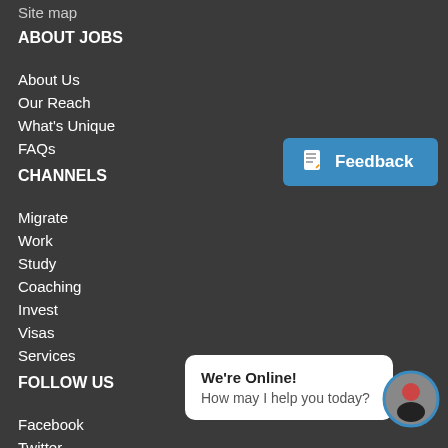Site map
ABOUT JOBS
About Us
Our Reach
What's Unique
FAQs
CHANNELS
Migrate
Work
Study
Coaching
Invest
Visas
Services
FOLLOW US
Facebook
Twitter
[Figure (screenshot): Blue feedback button with document icon]
[Figure (screenshot): Chat widget showing 'We're Online! How may I help you today?' with avatar]